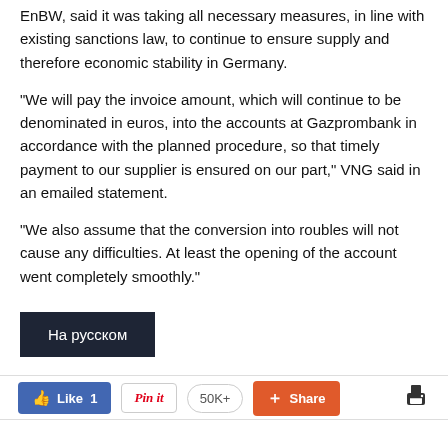EnBW, said it was taking all necessary measures, in line with existing sanctions law, to continue to ensure supply and therefore economic stability in Germany.
“We will pay the invoice amount, which will continue to be denominated in euros, into the accounts at Gazprombank in accordance with the planned procedure, so that timely payment to our supplier is ensured on our part,” VNG said in an emailed statement.
“We also assume that the conversion into roubles will not cause any difficulties. At least the opening of the account went completely smoothly.”
На русском
Like 1  Pin it  50K+  Share